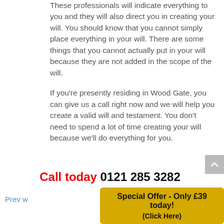These professionals will indicate everything to you and they will also direct you in creating your will. You should know that you cannot simply place everything in your will. There are some things that you cannot actually put in your will because they are not added in the scope of the will.
If you're presently residing in Wood Gate, you can give us a call right now and we will help you create a valid will and testament. You don't need to spend a lot of time creating your will because we'll do everything for you.
Call today 0121 285 3282
Prev w
Special Offer - Only £39 today! (Click Here)